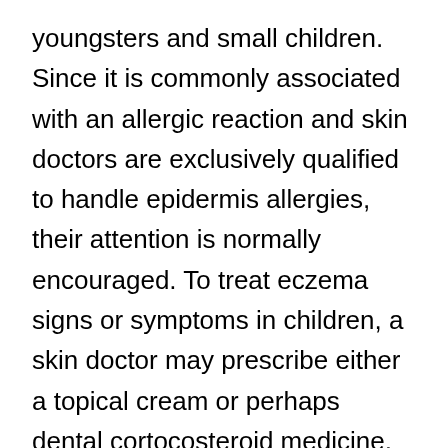youngsters and small children. Since it is commonly associated with an allergic reaction and skin doctors are exclusively qualified to handle epidermis allergies, their attention is normally encouraged. To treat eczema signs or symptoms in children, a skin doctor may prescribe either a topical cream or perhaps dental cortocosteroid medicine, in addition to advise house healthy skin care regimens to reduce the severity of eczema's impacts. Though most children eventually outgrow eczema, some usually do not as well as the problem is taken over into adulthood. Therefore adults for sometime have to visit